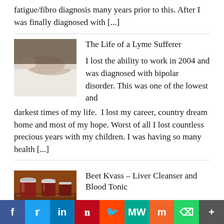fatigue/fibro diagnosis many years prior to this. After I was finally diagnosed with [...]
The Life of a Lyme Sufferer
[Figure (photo): Person lying curled up on a bed, appears to be in distress or resting]
I lost the ability to work in 2004 and was diagnosed with bipolar disorder. This was one of the lowest and darkest times of my life. I lost my career, country dream home and most of my hope. Worst of all I lost countless precious years with my children. I was having so many health [...]
Beet Kvass – Liver Cleanser and Blood Tonic
[Figure (photo): Jars of dark red beet kvass liquid on a wooden surface]